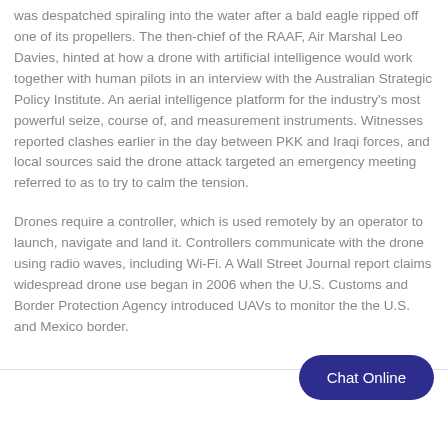was despatched spiraling into the water after a bald eagle ripped off one of its propellers. The then-chief of the RAAF, Air Marshal Leo Davies, hinted at how a drone with artificial intelligence would work together with human pilots in an interview with the Australian Strategic Policy Institute. An aerial intelligence platform for the industry's most powerful seize, course of, and measurement instruments. Witnesses reported clashes earlier in the day between PKK and Iraqi forces, and local sources said the drone attack targeted an emergency meeting referred to as to try to calm the tension.
Drones require a controller, which is used remotely by an operator to launch, navigate and land it. Controllers communicate with the drone using radio waves, including Wi-Fi. A Wall Street Journal report claims widespread drone use began in 2006 when the U.S. Customs and Border Protection Agency introduced UAVs to monitor the the U.S. and Mexico border.